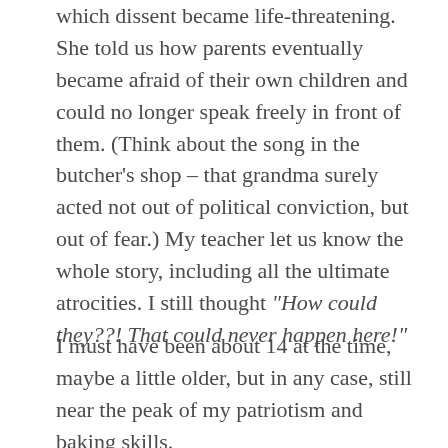which dissent became life-threatening. She told us how parents eventually became afraid of their own children and could no longer speak freely in front of them. (Think about the song in the butcher's shop – that grandma surely acted not out of political conviction, but out of fear.) My teacher let us know the whole story, including all the ultimate atrocities. I still thought "How could they??! That could never happen here!"
I must have been about 14 at the time, maybe a little older, but in any case, still near the peak of my patriotism and baking skills.